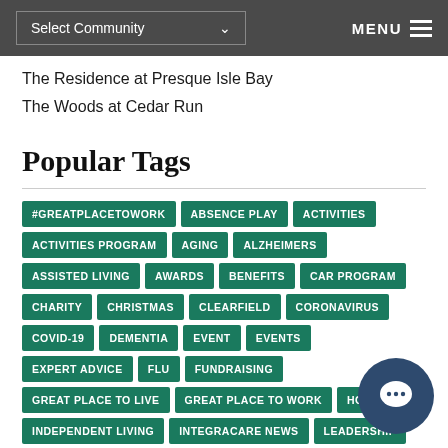Select Community   MENU
The Residence at Presque Isle Bay
The Woods at Cedar Run
Popular Tags
#GREATPLACETOWORK, ABSENCE PLAY, ACTIVITIES, ACTIVITIES PROGRAM, AGING, ALZHEIMERS, ASSISTED LIVING, AWARDS, BENEFITS, CAR PROGRAM, CHARITY, CHRISTMAS, CLEARFIELD, CORONAVIRUS, COVID-19, DEMENTIA, EVENT, EVENTS, EXPERT ADVICE, FLU, FUNDRAISING, GREAT PLACE TO LIVE, GREAT PLACE TO WORK, HOLIDAYS, INDEPENDENT LIVING, INTEGRACARE NEWS, LEADERSHIP, LIFESTYLES, MISSION STATEMENT